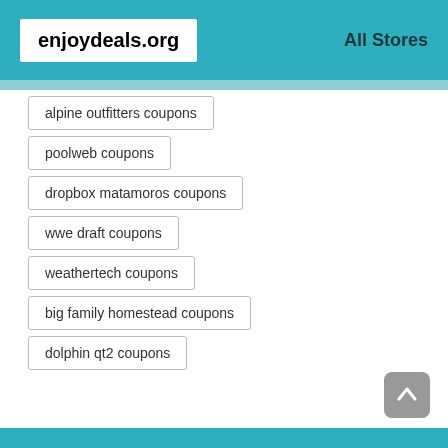enjoydeals.org | All Stores
alpine outfitters coupons
poolweb coupons
dropbox matamoros coupons
wwe draft coupons
weathertech coupons
big family homestead coupons
dolphin qt2 coupons